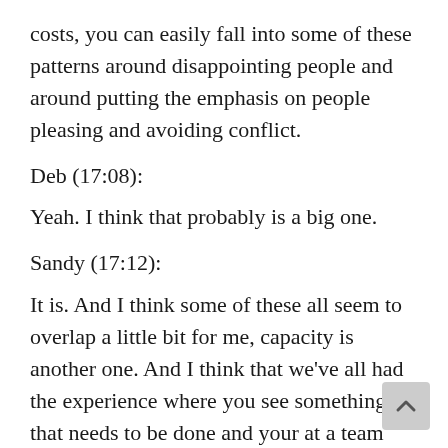costs, you can easily fall into some of these patterns around disappointing people and around putting the emphasis on people pleasing and avoiding conflict.
Deb (17:08):
Yeah. I think that probably is a big one.
Sandy (17:12):
It is. And I think some of these all seem to overlap a little bit for me, capacity is another one. And I think that we've all had the experience where you see something that needs to be done and your at a team meeting like a weekly meeting where you're talking about what needs to happen and you don't want to be the person that says, Oh, this room really needs to be cleaned out. It's a mess. We need someone to take stock or do inventory or find out what's going on over here. Because you know, if you say something, there's